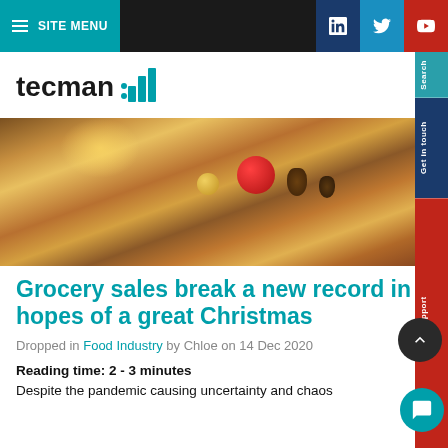SITE MENU
[Figure (logo): tecman logo with bar chart icon in teal]
[Figure (photo): Christmas food spread with cookies, ornaments, pine cones, and festive decorations on a table]
Grocery sales break a new record in hopes of a great Christmas
Dropped in Food Industry by Chloe on 14 Dec 2020
Reading time: 2 - 3 minutes
Despite the pandemic causing uncertainty and chaos